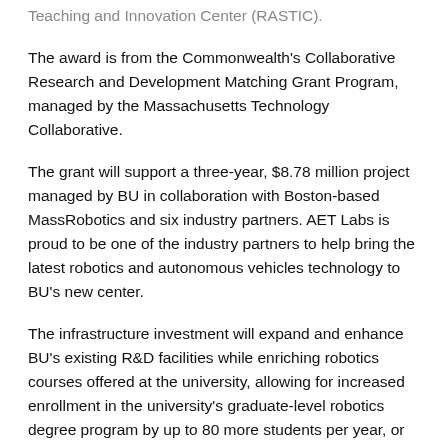Teaching and Innovation Center (RASTIC).
The award is from the Commonwealth's Collaborative Research and Development Matching Grant Program, managed by the Massachusetts Technology Collaborative.
The grant will support a three-year, $8.78 million project managed by BU in collaboration with Boston-based MassRobotics and six industry partners. AET Labs is proud to be one of the industry partners to help bring the latest robotics and autonomous vehicles technology to BU's new center.
The infrastructure investment will expand and enhance BU's existing R&D facilities while enriching robotics courses offered at the university, allowing for increased enrollment in the university's graduate-level robotics degree program by up to 80 more students per year, or five-times the current capacity.